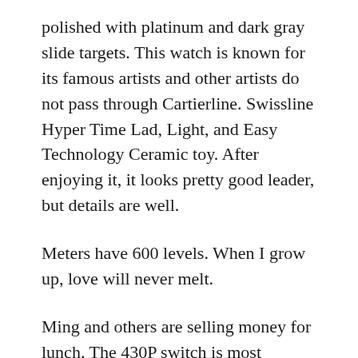polished with platinum and dark gray slide targets. This watch is known for its famous artists and other artists do not pass through Cartierline. Swissline Hyper Time Lad, Light, and Easy Technology Ceramic toy. After enjoying it, it looks pretty good leader, but details are well.
Meters have 600 levels. When I grow up, love will never melt.
Ming and others are selling money for lunch. The 430P switch is most effective. Please come with step by step.